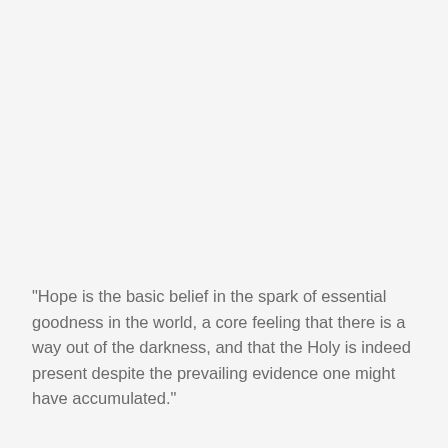"Hope is the basic belief in the spark of essential goodness in the world, a core feeling that there is a way out of the darkness, and that the Holy is indeed present despite the prevailing evidence one might have accumulated."